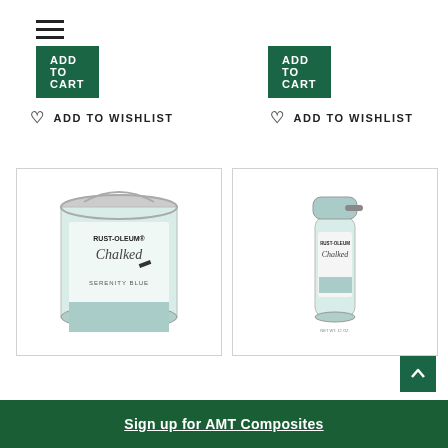[Figure (screenshot): Hamburger menu icon (three horizontal lines)]
ADD TO CART
ADD TO CART
ADD TO WISHLIST
ADD TO WISHLIST
[Figure (photo): Rust-Oleum Chalked paint can in Serenity Blue color]
[Figure (photo): Rust-Oleum Chalked spray paint can in Serenity Blue color]
Sign up for AMT Composites